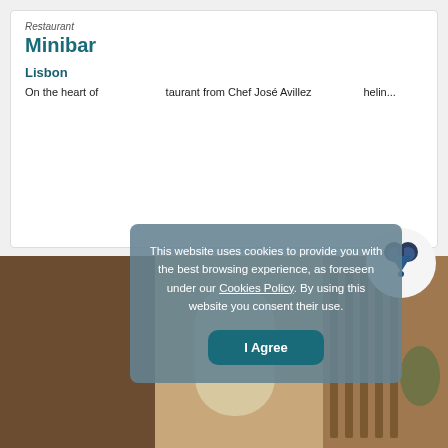[Figure (photo): Gray placeholder image area at top of restaurant listing card]
Restaurant
Minibar
Lisbon
On the heart of ... taurant from Chef José Avillez ... helin...
[Figure (screenshot): Cookie consent overlay with text: This website uses cookies to provide you with the best browsing experience, as foreseen under our Cookies Policy. By using this website you consent their use. With an I Agree button.]
[Figure (photo): Bottom strip showing interior room with wooden furniture and arched window]